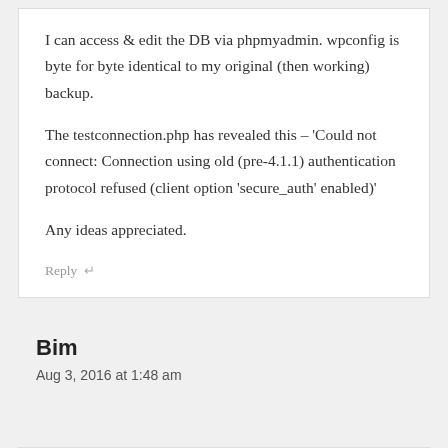I can access & edit the DB via phpmyadmin. wpconfig is byte for byte identical to my original (then working) backup.

The testconnection.php has revealed this – 'Could not connect: Connection using old (pre-4.1.1) authentication protocol refused (client option 'secure_auth' enabled)'

Any ideas appreciated.
Reply
Bim
Aug 3, 2016 at 1:48 am